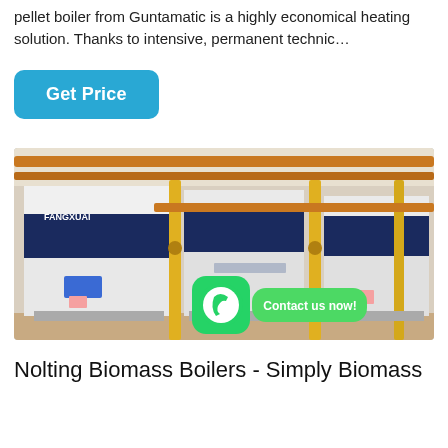pellet boiler from Guntamatic is a highly economical heating solution. Thanks to intensive, permanent technic…
Get Price
[Figure (photo): Industrial biomass/gas boilers (Fangxuai brand) installed in a boiler room with orange and yellow pipes. A WhatsApp icon and 'Contact us now!' green badge overlay the bottom center of the image.]
Nolting Biomass Boilers - Simply Biomass